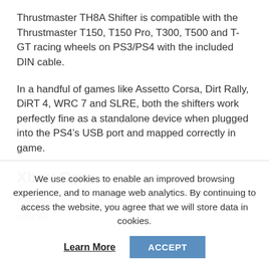Thrustmaster TH8A Shifter is compatible with the Thrustmaster T150, T150 Pro, T300, T500 and T-GT racing wheels on PS3/PS4 with the included DIN cable.
In a handful of games like Assetto Corsa, Dirt Rally, DiRT 4, WRC 7 and SLRE, both the shifters work perfectly fine as a standalone device when plugged into the PS4’s USB port and mapped correctly in game.
Xbox One:
Fanatec ClubSport Shifter SQ V1.5 is compatible with all
We use cookies to enable an improved browsing experience, and to manage web analytics. By continuing to access the website, you agree that we will store data in cookies.
Learn More | ACCEPT